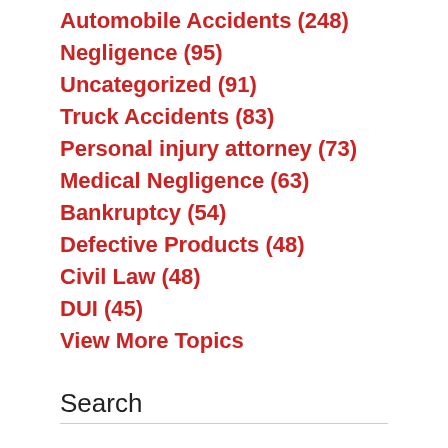Automobile Accidents (248)
Negligence (95)
Uncategorized (91)
Truck Accidents (83)
Personal injury attorney (73)
Medical Negligence (63)
Bankruptcy (54)
Defective Products (48)
Civil Law (48)
DUI (45)
View More Topics
Search